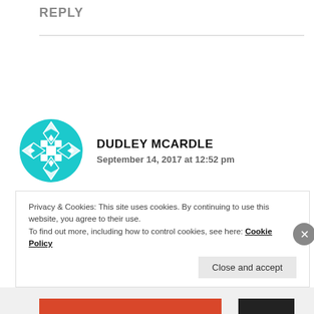REPLY
[Figure (illustration): Circular teal geometric avatar with diamond and square pattern for user Dudley McArdle]
DUDLEY MCARDLE
September 14, 2017 at 12:52 pm
A very courageous, generous, insightful and caring post, John.
Privacy & Cookies: This site uses cookies. By continuing to use this website, you agree to their use.
To find out more, including how to control cookies, see here: Cookie Policy
Close and accept